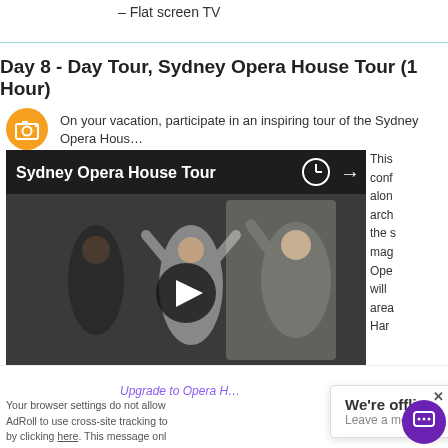– Flat screen TV
Day 8 - Day Tour, Sydney Opera House Tour (1 Hour)
On your vacation, participate in an inspiring tour of the Sydney Opera Hous…
[Figure (screenshot): Video thumbnail for Sydney Opera House Tour showing people in a dark room with hands raised, play button overlay, title bar reading 'Sydney Opera House Tour', and clock/share icons.]
This conf alon arch the s mag Ope will  area Har
Upgrade to Opera H…
Your browser settings do not allow AdRoll to use cross-site tracking to by clicking here. This message onl
We're offline
Leave a message
ept a… is … s Ad…